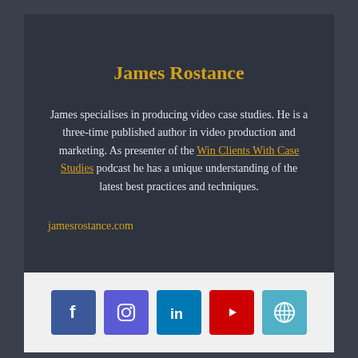James Rostance
James specialises in producing video case studies. He is a three-time published author in video production and marketing. As presenter of the Win Clients With Case Studies podcast he has a unique understanding of the latest best practices and techniques.
jamesrostance.com
[Figure (other): Social media icons: Facebook, Instagram, LinkedIn, YouTube, WordPress]